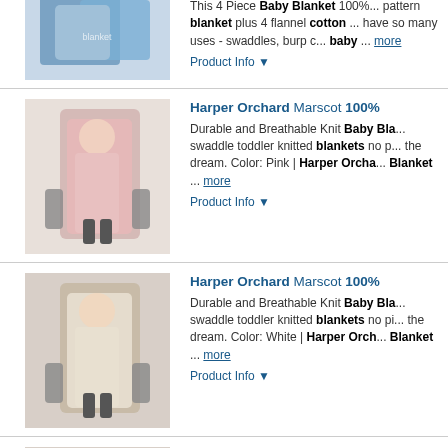[Figure (photo): Blue baby blanket product photo, partially cut off at top]
This 4 Piece Baby Blanket 100%... pattern blanket plus 4 flannel cotton ... have so many uses - swaddles, burp c... baby ... more
Product Info ▼
[Figure (photo): Pink baby blanket in stroller product photo]
Harper Orchard Marscot 100%... Durable and Breathable Knit Baby Bla... swaddle toddler knitted blankets no p... the dream. Color: Pink | Harper Orcha... Blanket ... more
Product Info ▼
[Figure (photo): White baby blanket in stroller product photo]
Harper Orchard Marscot 100%... Durable and Breathable Knit Baby Bla... swaddle toddler knitted blankets no pi... the dream. Color: White | Harper Orch... Blanket ... more
Product Info ▼
[Figure (photo): White baby blanket in stroller product photo (second)]
Harper Orchard Marscot 100%... Durable and Breathable Knit Baby Bla... swaddle toddler knitted blankets no pi... the dream. Color: White | Harper Orch... Blanket ... more
Product Info ▼
[Figure (photo): Baby blanket product photo, partially cut off at bottom]
Harper Orchard Marscot 100%... Durable and Breathable Knit Baby Bl...